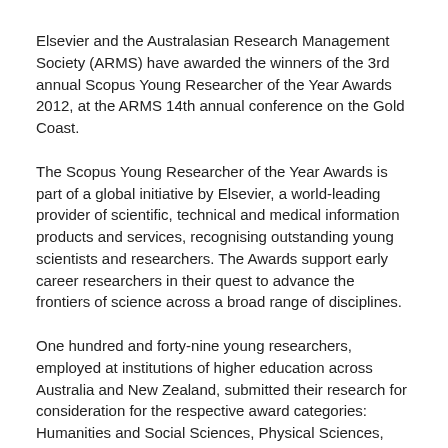Elsevier and the Australasian Research Management Society (ARMS) have awarded the winners of the 3rd annual Scopus Young Researcher of the Year Awards 2012, at the ARMS 14th annual conference on the Gold Coast.
The Scopus Young Researcher of the Year Awards is part of a global initiative by Elsevier, a world-leading provider of scientific, technical and medical information products and services, recognising outstanding young scientists and researchers. The Awards support early career researchers in their quest to advance the frontiers of science across a broad range of disciplines.
One hundred and forty-nine young researchers, employed at institutions of higher education across Australia and New Zealand, submitted their research for consideration for the respective award categories: Humanities and Social Sciences, Physical Sciences, Engineering and Technology, Life Sciences and Biological Sciences and Medicine and Medical Sciences.
The winners and finalists were selected by an independent panel of three